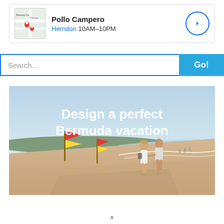[Figure (screenshot): Map thumbnail showing Pollo Campero location with red pin markers]
Pollo Campero
Herndon 10AM–10PM
[Figure (illustration): Circular navigation/directions icon with blue border and arrow]
[Figure (other): Search bar with 'Search...' placeholder and blue 'Go!' button]
[Figure (photo): Beach scene with couple walking on shore with red and yellow flags, text overlay reading 'Design a perfect Bermuda vacation']
x